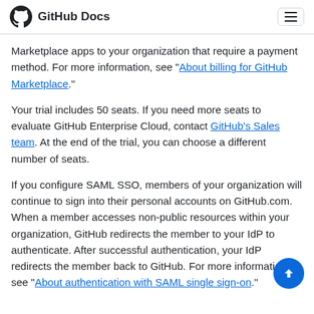GitHub Docs
Marketplace apps to your organization that require a payment method. For more information, see "About billing for GitHub Marketplace."
Your trial includes 50 seats. If you need more seats to evaluate GitHub Enterprise Cloud, contact GitHub's Sales team. At the end of the trial, you can choose a different number of seats.
If you configure SAML SSO, members of your organization will continue to sign into their personal accounts on GitHub.com. When a member accesses non-public resources within your organization, GitHub redirects the member to your IdP to authenticate. After successful authentication, your IdP redirects the member back to GitHub. For more information, see "About authentication with SAML single sign-on."